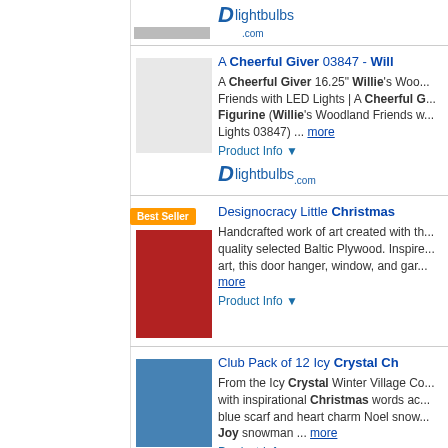[Figure (screenshot): Product listing page from a shopping website showing Christmas/holiday items. Left panel is a filter sidebar. Right column shows product listings with images, titles, descriptions, product info links, and retailer logos.]
A Cheerful Giver 03847 - Willie...
A Cheerful Giver 16.25" Willie's Woo... Friends with LED Lights | A Cheerful G... Figurine (Willie's Woodland Friends w... Lights 03847) ... more
Product Info ▼
Designocracy Little Christmas...
Handcrafted work of art created with th... quality selected Baltic Plywood. Inspire... art, this door hanger, window, and gar... more
Product Info ▼
Club Pack of 12 Icy Crystal Ch...
From the Icy Crystal Winter Village Co... with inspirational Christmas words ac... blue scarf and heart charm Noel snow... Joy snowman ... more
Product Info ▼
The Holiday Aisle® Set of 12 "...